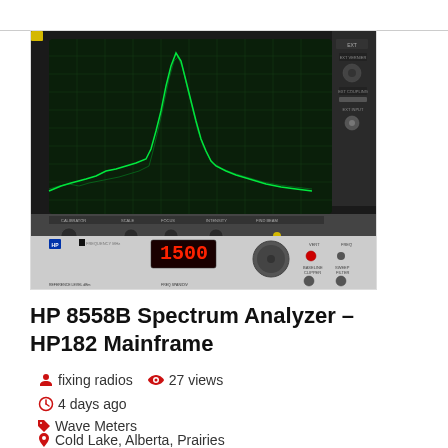[Figure (photo): HP 8558B Spectrum Analyzer in HP182 Mainframe. Shows the oscilloscope-style CRT display with green waveform trace against dark grid background, and the instrument front panel below with controls including CALIBRATOR, SCALE, FOCUS, INTENSITY, FIND BEAM, FREQUENCY MHz display showing 1500, TUNING knob, VERT controls, FREQ controls, BASELINE CLIPPER, SWEEP FILTER, and REFERENCE LEVEL controls.]
HP 8558B Spectrum Analyzer – HP182 Mainframe
fixing radios   27 views
4 days ago
Wave Meters
Cold Lake, Alberta, Prairies